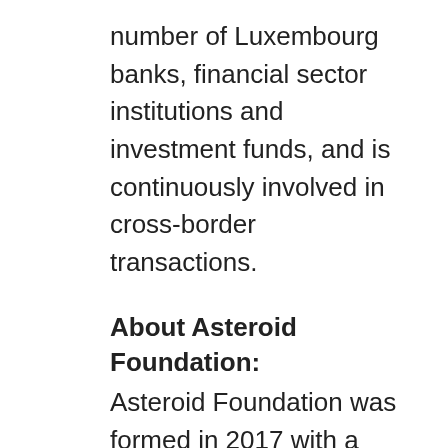number of Luxembourg banks, financial sector institutions and investment funds, and is continuously involved in cross-border transactions.
About Asteroid Foundation:
Asteroid Foundation was formed in 2017 with a mission to promote worldwide awareness of asteroid opportunities and challenges, and the emerging space economy. The Asteroid Foundation undertakes programmes and activities to support scientists, engineers and students around the world providing free educational tools, newsletters, original